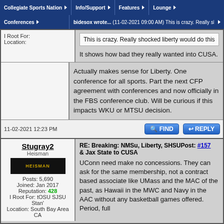Collegiate Sports Nation | Info/Support | Features | Lounge
Conferences | bidesox wrote... (11-02-2021 09:00 AM)
This is crazy. Really shocked liberty would do this
I Root For:
Location:
This is crazy. Really shocked liberty would do this

It shows how bad they really wanted into CUSA.
Actually makes sense for Liberty. One conference for all sports. Part the next CFP agreement with conferences and now officially in the FBS conference club. Will be curious if this impacts WKU or MTSU decision.
11-02-2021 12:23 PM
FIND
REPLY
Stugray2
Heisman
Posts: 5,690
Joined: Jan 2017
Reputation: 428
I Root For: tOSU SJSU Stan'
Location: South Bay Area CA
RE: Breaking: NMSu, Liberty, SHSUPost: #157 & Jax State to CUSA
UConn need make no concessions. They can ask for the same membership, not a contract based associate like UMass and the MAC of the past, as Hawaii in the MWC and Navy in the AAC without any basketball games offered. Period, full